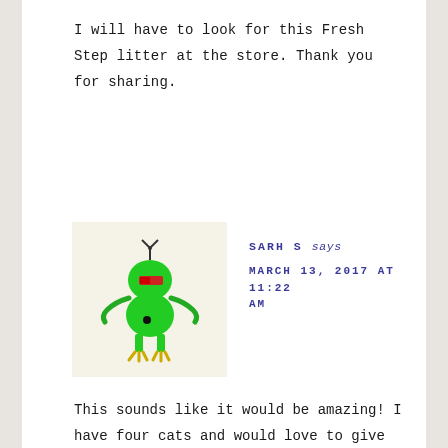I will have to look for this Fresh Step litter at the store. Thank you for sharing.
[Figure (illustration): Cartoon robot avatar illustration — a green alien-like robot character with a red rectangle on its body, yellow feet/claws, green wavy arms, and an antenna on its head, on a light beige background.]
SARH S says
MARCH 13, 2017 AT 11:22 AM
This sounds like it would be amazing! I have four cats and would love to give this a shot.